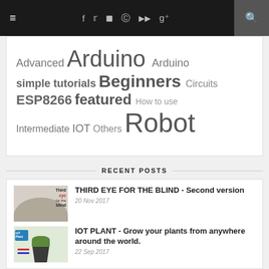≡  f  twitter  instagram  pinterest  youtube  google+  🔍
Advanced Arduino Arduino simple tutorials Beginners Circuits ESP8266 featured How to use Intermediate IOT Others Robot
RECENT POSTS
[Figure (photo): Thumbnail image: hands holding a device with text 'Third eye for the blind']
THIRD EYE FOR THE BLIND - Second version
20 Nov 2017
[Figure (photo): Thumbnail image: IoT plant watering system with a potted plant and microcontroller]
IOT PLANT - Grow your plants from anywhere around the world.
22 Sep 2017